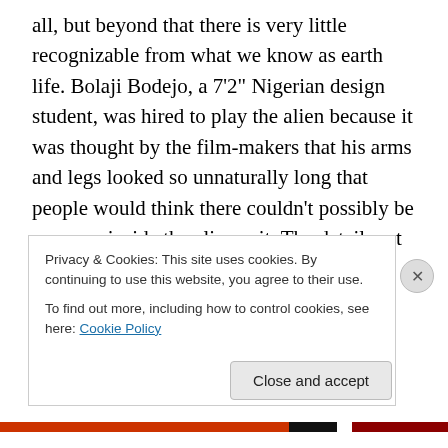all, but beyond that there is very little recognizable from what we know as earth life. Bolaji Bodejo, a 7'2" Nigerian design student, was hired to play the alien because it was thought by the film-makers that his arms and legs looked so unnaturally long that people would think there couldn't possibly be a person inside the alien suit. The details set it even more apart from a person. It has no eyes. It has a sharp tail. It has random protrusions from its back. It has that extra mouth inside its mouth that rams out like a phallic torpedo to break through skulls. Speaking of phallic, its whole head looks vaquely dick-like, albeit a
Privacy & Cookies: This site uses cookies. By continuing to use this website, you agree to their use.
To find out more, including how to control cookies, see here: Cookie Policy
Close and accept